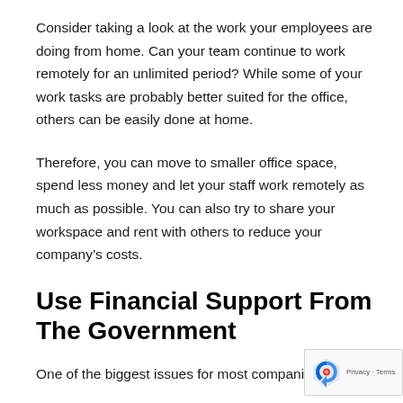Consider taking a look at the work your employees are doing from home. Can your team continue to work remotely for an unlimited period? While some of your work tasks are probably better suited for the office, others can be easily done at home.
Therefore, you can move to smaller office space, spend less money and let your staff work remotely as much as possible. You can also try to share your workspace and rent with others to reduce your company's costs.
Use Financial Support From The Government
One of the biggest issues for most companies in these challenging situations is finding money to pay all employees and...